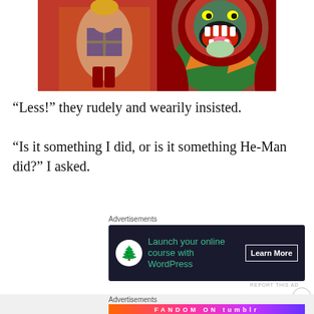[Figure (illustration): Cartoon image of He-Man and a lion-like character (Battle Cat or similar) from Masters of the Universe animated series. He-Man is seated on the left, muscular with cross-hatch armor. On the right is a large roaring red-maned green creature with mouth wide open.]
“Less!” they rudely and wearily insisted.
“Is it something I did, or is it something He-Man did?” I asked.
Advertisements
[Figure (screenshot): Dark-themed advertisement banner: circular white icon with plant/bonsai symbol, green text 'Launch your online course with WordPress', white bordered 'Learn More' button on dark navy background.]
REPORT THIS AD
Advertisements
[Figure (screenshot): Colorful gradient advertisement banner (orange to purple) with text 'FANDOM ON tumblr' in bold white letters with music and decorative icons scattered around.]